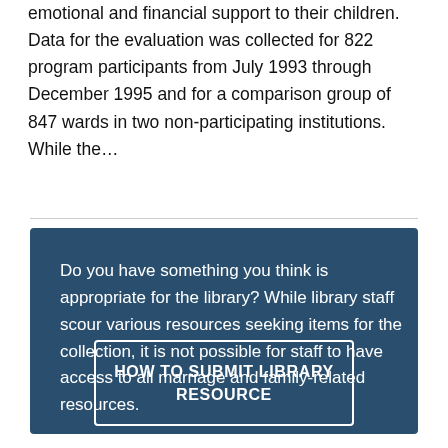emotional and financial support to their children. Data for the evaluation was collected for 822 program participants from July 1993 through December 1995 and for a comparison group of 847 wards in two non-participating institutions. While the…
Do you have something you think is appropriate for the library? While library staff scour various resources seeking items for the collection, it is not possible for staff to have access to all marriage and family-related resources.
HOW TO SUBMIT LIBRARY RESOURCE